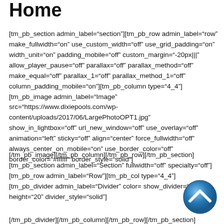Home
[tm_pb_section admin_label="section"][tm_pb_row admin_label="row" make_fullwidth="on" use_custom_width="off" use_grid_padding="on" width_unit="on" padding_mobile="off" custom_margin="-20px|||" allow_player_pause="off" parallax="off" parallax_method="off" make_equal="off" parallax_1="off" parallax_method_1="off" column_padding_mobile="on"][tm_pb_column type="4_4"][tm_pb_image admin_label="Image" src="https://www.dixiepools.com/wp-content/uploads/2017/06/LargePhotoOPT1.jpg" show_in_lightbox="off" url_new_window="off" use_overlay="off" animation="left" sticky="off" align="center" force_fullwidth="off" always_center_on_mobile="on" use_border_color="off" border_color="#ffffff" border_style="solid"]
[/tm_pb_image][/tm_pb_column][/tm_pb_row][/tm_pb_section][tm_pb_section admin_label="Section" fullwidth="off" specialty="off"][tm_pb_row admin_label="Row"][tm_pb_column type="4_4"][tm_pb_divider admin_label="Divider" color= show_divider="off" height="20" divider_style="solid"]
[/tm_pb_divider][/tm_pb_column][/tm_pb_row][/tm_pb_section]